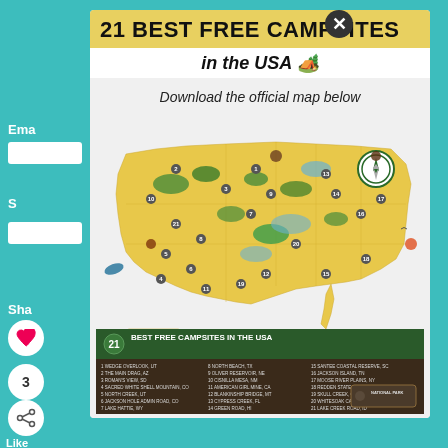21 BEST FREE CAMPSITES
in the USA 🏕️
Download the official map below
[Figure (map): Illustrated map of the USA showing 21 best free campsites numbered and marked with illustrated icons for each location, with list of campsite names at bottom. Title reads '21 BEST FREE CAMPSITES IN THE USA']